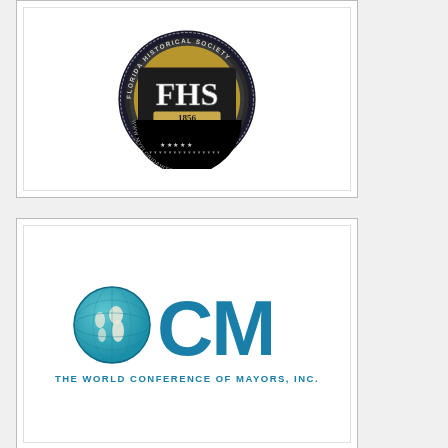[Figure (logo): Florida Historical Society (FHS) circular badge logo with 'FHS' text, '1856' date, and 'www.myfloridahistory.org' around the edge]
[Figure (logo): The World Conference of Mayors, Inc. logo featuring a teal globe on the left and 'OCM' large letters in teal-blue, with tagline 'THE WORLD CONFERENCE OF MAYORS, INC.' below]